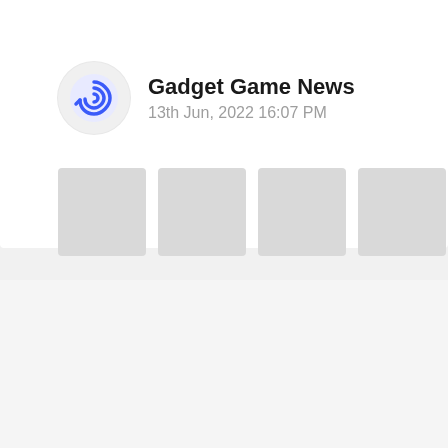[Figure (logo): Circular logo with blue spiral/coil icon on light grey background]
Gadget Game News
13th Jun, 2022 16:07 PM
[Figure (other): Four grey placeholder image squares in a horizontal row]